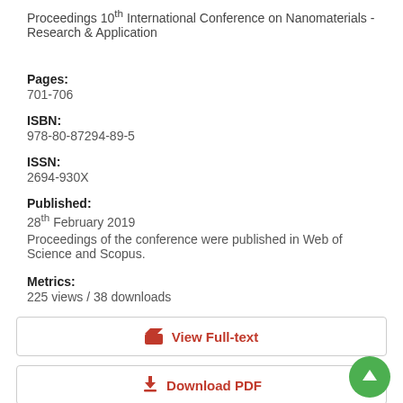Proceedings 10th International Conference on Nanomaterials - Research & Application
Pages:
701-706
ISBN:
978-80-87294-89-5
ISSN:
2694-930X
Published:
28th February 2019
Proceedings of the conference were published in Web of Science and Scopus.
Metrics:
225 views / 38 downloads
View Full-text
Download PDF